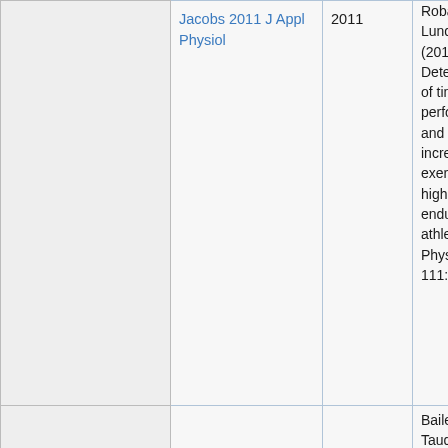|  | Reference | Year | Description |
| --- | --- | --- | --- |
|  | Jacobs 2011 J Appl Physiol | 2011 | Robach P, Lundby C (2011) Determining of time trial performance and maximal incremental exercise in highly trained endurance athletes. Physiol 111:1422 |
|  |  |  | Bailey DL, Taudorf S, Berg RM, Lundby C, McEneney, Young IS |